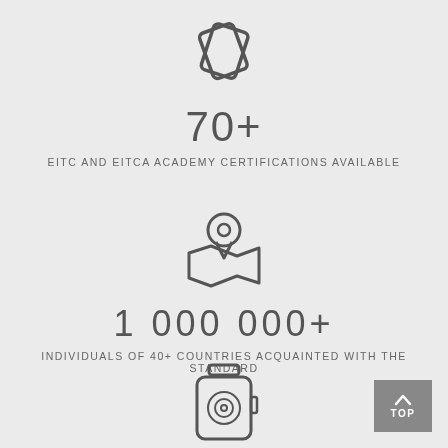[Figure (infographic): Two overlapping card/diamond icons in dark gray outline style]
70+
EITC AND EITCA ACADEMY CERTIFICATIONS AVAILABLE
[Figure (infographic): Location pin icon over a map outline, dark gray outline style]
1 000 000+
INDIVIDUALS OF 40+ COUNTRIES ACQUAINTED WITH THE STANDARD
[Figure (infographic): Smartwatch icon with circular display, dark gray outline style]
[Figure (other): TOP navigation button in gray square with upward arrow]